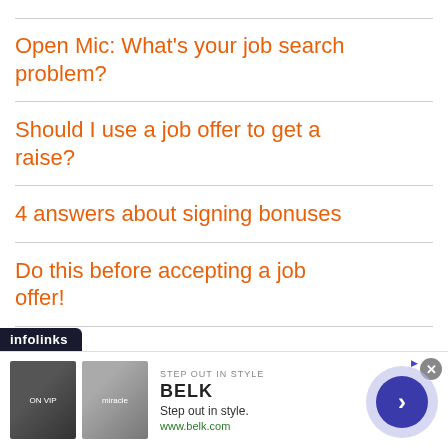Open Mic: What's your job search problem?
Should I use a job offer to get a raise?
4 answers about signing bonuses
Do this before accepting a job offer!
[Figure (screenshot): Infolinks advertisement banner for Belk clothing store with images, tagline 'Step out in style.' and www.belk.com URL, plus navigation arrow button]